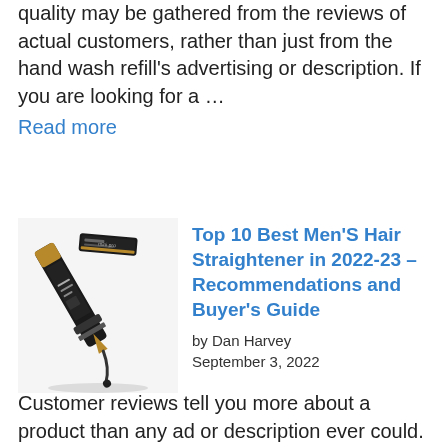A product's overall quality may be gathered from the reviews of actual customers, rather than just from the hand wash refill's advertising or description. If you are looking for a … Read more
[Figure (photo): Photo of a mini pro hair straightener device — a flat iron tool with black and gold coloring, shown with its case/box.]
Top 10 Best Men'S Hair Straightener in 2022-23 – Recommendations and Buyer's Guide
by Dan Harvey
September 3, 2022
Customer reviews tell you more about a product than any ad or description ever could. A good review will help you make the right choice, and if you are